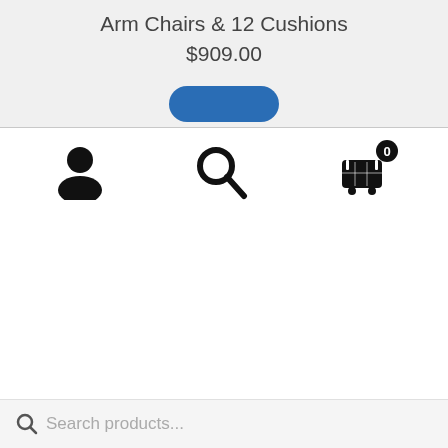Arm Chairs & 12 Cushions
$909.00
[Figure (screenshot): E-commerce mobile website navigation bar with user account icon, search icon, and shopping cart icon with badge showing 0]
Search products...